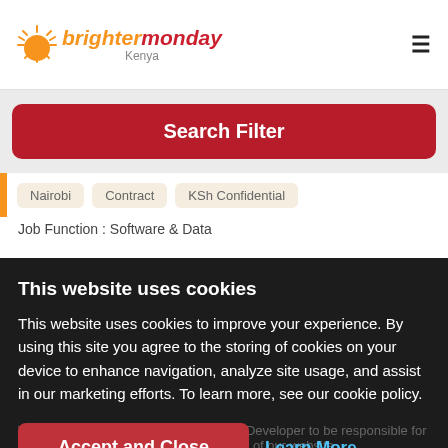brightermonday Kenya
Search Filter
Nairobi   Contract   KSh Confidential
Job Function : Software & Data
5 days ago
This website uses cookies
This website uses cookies to improve your experience. By using this site you agree to the storing of cookies on your device to enhance navigation, analyze site usage, and assist in our marketing efforts. To learn more, see our cookie policy.
Accept and Close   Learn More
We are looking for an outstanding Web Developer to be responsible for the coding, innovative design and layout of our website.